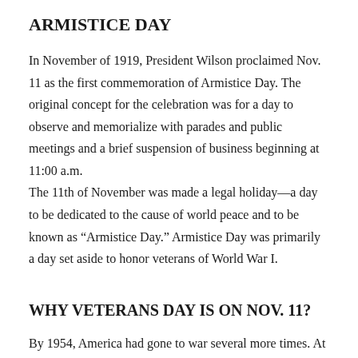ARMISTICE DAY
In November of 1919, President Wilson proclaimed Nov. 11 as the first commemoration of Armistice Day. The original concept for the celebration was for a day to observe and memorialize with parades and public meetings and a brief suspension of business beginning at 11:00 a.m.
The 11th of November was made a legal holiday—a day to be dedicated to the cause of world peace and to be known as “Armistice Day.” Armistice Day was primarily a day set aside to honor veterans of World War I.
WHY VETERANS DAY IS ON NOV. 11?
By 1954, America had gone to war several more times. At the urging of the veterans service organizations, Congress amended